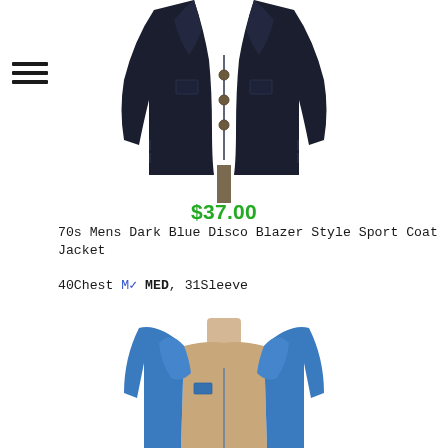[Figure (photo): Dark navy blue men's disco blazer sport coat jacket on a mannequin, upper portion visible, showing lapels, buttons and pocket details]
$37.00
70s Mens Dark Blue Disco Blazer Style Sport Coat Jacket
40Chest M✓ MED, 31Sleeve
[Figure (photo): Blue men's sport coat jacket on a headless mannequin, upper portion visible, showing lapels and breast pocket]